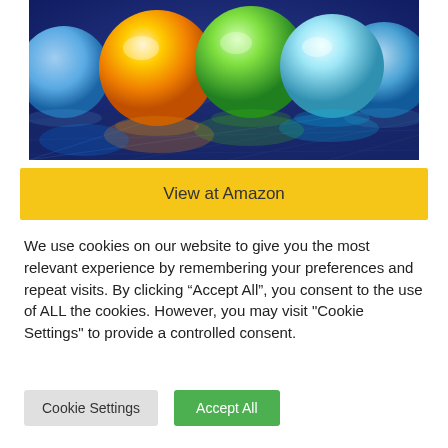[Figure (photo): Photo of colorful glowing balls (blue, orange/yellow, green, cyan/white) on a reflective surface with a dark blue background]
View at Amazon
We use cookies on our website to give you the most relevant experience by remembering your preferences and repeat visits. By clicking “Accept All”, you consent to the use of ALL the cookies. However, you may visit "Cookie Settings" to provide a controlled consent.
Cookie Settings
Accept All